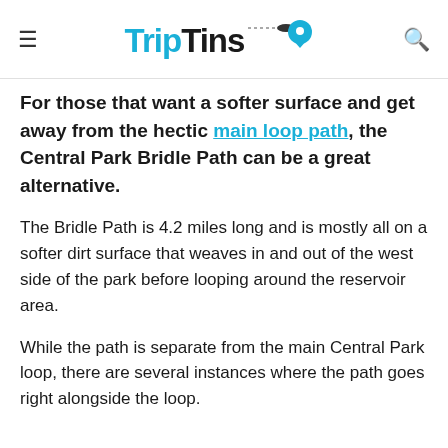TripTins
For those that want a softer surface and get away from the hectic main loop path, the Central Park Bridle Path can be a great alternative.
The Bridle Path is 4.2 miles long and is mostly all on a softer dirt surface that weaves in and out of the west side of the park before looping around the reservoir area.
While the path is separate from the main Central Park loop, there are several instances where the path goes right alongside the loop.